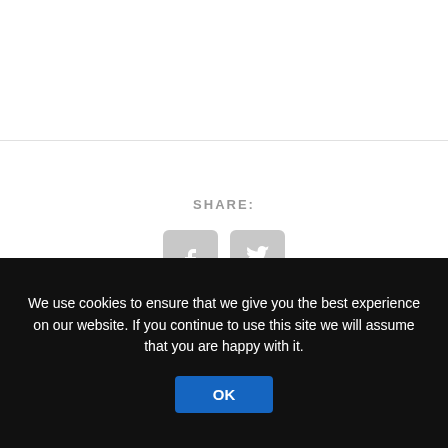SHARE:
[Figure (other): Facebook and Twitter share icon buttons]
< PREVIOUS
Ukraine War, Day 89: Russia Steps Up Struggling Offensive in East
NEXT >
Zaghari-Ratcliffe: UK Foreign Office Complicit in My “Confession” in Iran
We use cookies to ensure that we give you the best experience on our website. If you continue to use this site we will assume that you are happy with it.